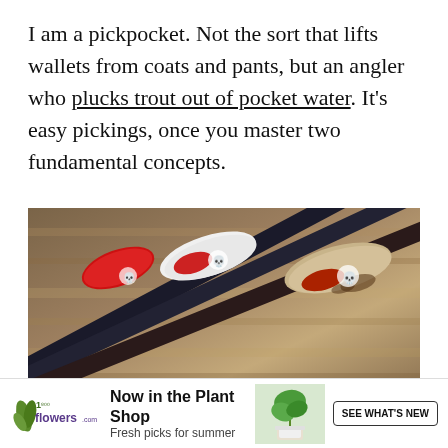I am a pickpocket. Not the sort that lifts wallets from coats and pants, but an angler who plucks trout out of pocket water. It's easy pickings, once you master two fundamental concepts.
[Figure (photo): Close-up photo of three archery arrows with red, white, and tan fletching (vanes) against a blurred brown background. The arrows have black and red patterned shafts.]
[Figure (infographic): Advertisement banner for 1-800-flowers.com showing logo with leaf icon, text 'Now in the Plant Shop / Fresh picks for summer', a photo of a green houseplant, and a 'SEE WHAT'S NEW' button.]